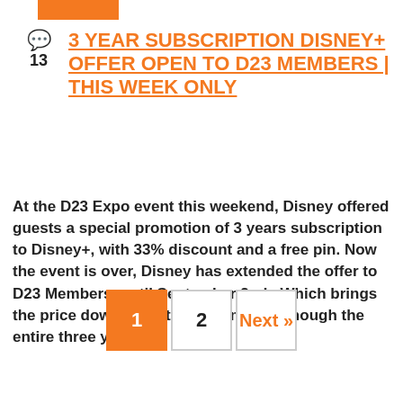[Figure (other): Orange decorative bar at top]
3 YEAR SUBSCRIPTION DISNEY+ OFFER OPEN TO D23 MEMBERS | THIS WEEK ONLY
At the D23 Expo event this weekend, Disney offered guests a special promotion of 3 years subscription to Disney+, with 33% discount and a free pin. Now the event is over, Disney has extended the offer to D23 Members, until September 2nd.  Which brings the price down to just $3.92 a month, though the entire three years [...]
1
2
Next »